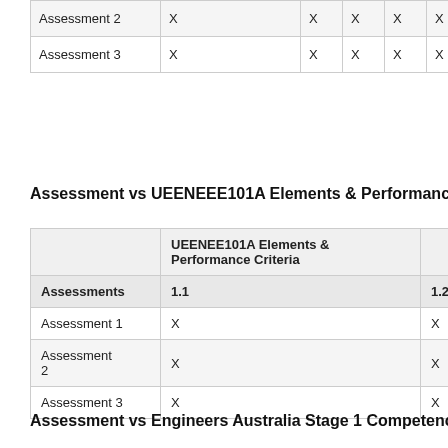|  |  | X | X | X | X | X |
| --- | --- | --- | --- | --- | --- | --- |
| Assessment 2 | X | X | X | X | X | X |
| Assessment 3 | X | X | X | X | X | X |
Assessment vs UEENEEE101A Elements & Performance Cr
|  | UEENEE101A Elements & Performance Criteria | 1.2 | 1.3 |
| --- | --- | --- | --- |
| Assessments | 1.1 | 1.2 | 1.3 |
| Assessment 1 | X | X | X |
| Assessment 2 | X | X | X |
| Assessment 3 | X | X | X |
Assessment vs Engineers Australia Stage 1 Competencies